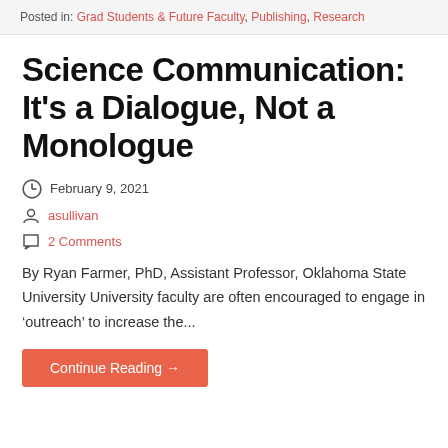Posted in: Grad Students & Future Faculty, Publishing, Research
Science Communication: It's a Dialogue, Not a Monologue
February 9, 2021
asullivan
2 Comments
By Ryan Farmer, PhD, Assistant Professor, Oklahoma State University University faculty are often encouraged to engage in 'outreach' to increase the...
Continue Reading →